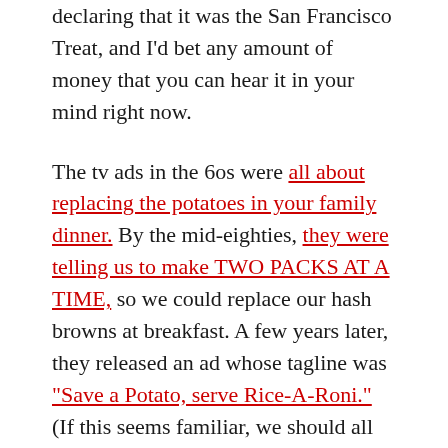declaring that it was the San Francisco Treat, and I'd bet any amount of money that you can hear it in your mind right now.
The tv ads in the 60s were all about replacing the potatoes in your family dinner. By the mid-eighties, they were telling us to make TWO PACKS AT A TIME, so we could replace our hash browns at breakfast. A few years later, they released an ad whose tagline was "Save a Potato, serve Rice-A-Roni." (If this seems familiar, we should all recognize that Chik-fil-a ripped this concept off hard for their eat more Chikn ads.)
Eventually, you could microwave a baked